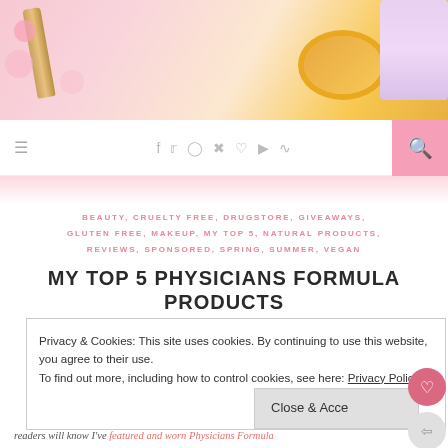[Figure (photo): Hero image of makeup products including a mascara tube and a bronzer compact with pink flowers on a white background]
≡   f  t  ○  P  ♥  ▶  )  🔍
BEAUTY, CRUELTY FREE, DRUGSTORE, GIVEAWAYS, GLUTEN FREE, MAKEUP, MY TOP 5, NATURAL PRODUCTS, REVIEWS, SPONSORED, SPRING, SUMMER, VEGAN
MY TOP 5 PHYSICIANS FORMULA PRODUCTS
Privacy & Cookies: This site uses cookies. By continuing to use this website, you agree to their use.
To find out more, including how to control cookies, see here: Privacy Policy
Close & Acce
readers will know I've featured and worn Physicians Formula